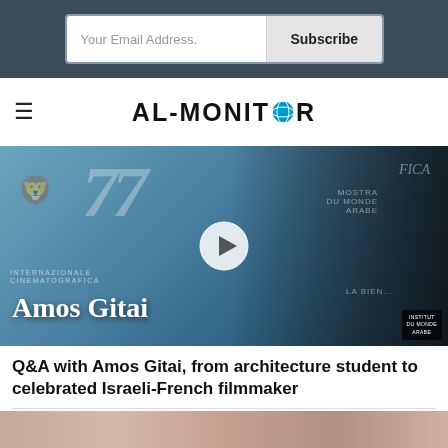Your Email Address. | Subscribe
AL-MONITOR
[Figure (photo): Amos Gitai at the Venice Film Festival (77th edition), man in black attire against a blue festival backdrop with the text 'Amos Gitai' overlaid, play button icon visible]
Q&A with Amos Gitai, from architecture student to celebrated Israeli-French filmmaker
[Figure (photo): Bottom strip showing partial image of people]